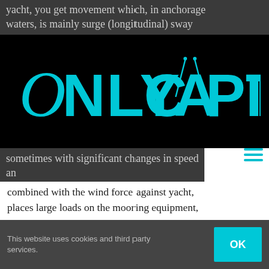yacht, you get movement which, in anchorage waters, is mainly surge (longitudinal) sway
[Figure (logo): OnlyCaptains logo — white text on black background with cyan/turquoise lettering reading ONLYCAPTAINS with a compass/divider tool incorporated into the letter A]
sometimes with significant changes in speed and heading. That movement and resultant inertia, combined with the wind force against yacht, places large loads on the mooring equipment, chain and anchor – enough to break the anchor out of the seabed.
Why Two?
We have all heard and felt the terrible shudder as the bow finally comes to a stop against the
This website uses cookies and third party services. OK